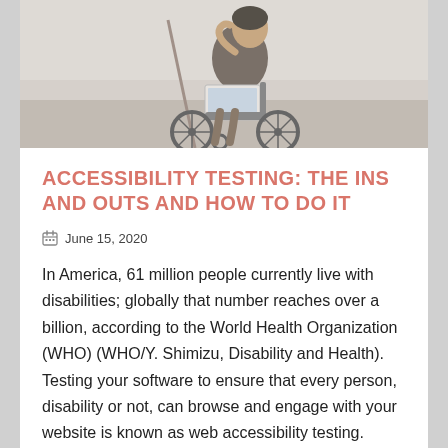[Figure (photo): Person in a wheelchair using a laptop computer, photographed indoors with a light background]
ACCESSIBILITY TESTING: THE INS AND OUTS AND HOW TO DO IT
June 15, 2020
In America, 61 million people currently live with disabilities; globally that number reaches over a billion, according to the World Health Organization (WHO) (WHO/Y. Shimizu, Disability and Health). Testing your software to ensure that every person, disability or not, can browse and engage with your website is known as web accessibility testing. These disabilities include